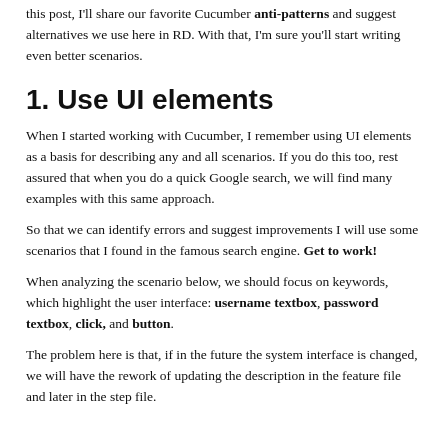this post, I'll share our favorite Cucumber anti-patterns and suggest alternatives we use here in RD. With that, I'm sure you'll start writing even better scenarios.
1. Use UI elements
When I started working with Cucumber, I remember using UI elements as a basis for describing any and all scenarios. If you do this too, rest assured that when you do a quick Google search, we will find many examples with this same approach.
So that we can identify errors and suggest improvements I will use some scenarios that I found in the famous search engine. Get to work!
When analyzing the scenario below, we should focus on keywords, which highlight the user interface: username textbox, password textbox, click, and button.
The problem here is that, if in the future the system interface is changed, we will have the rework of updating the description in the feature file and later in the step file.